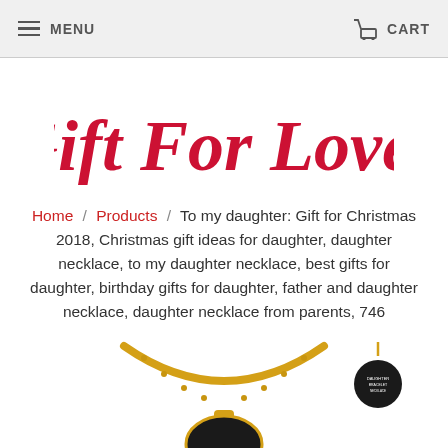MENU   CART
[Figure (logo): Gift For Loves cursive red script logo]
Home / Products / To my daughter: Gift for Christmas 2018, Christmas gift ideas for daughter, daughter necklace, to my daughter necklace, best gifts for daughter, birthday gifts for daughter, father and daughter necklace, daughter necklace from parents, 746
[Figure (photo): Gold necklace with circular pendant on white background, and a small circular black pendant in the upper right corner]